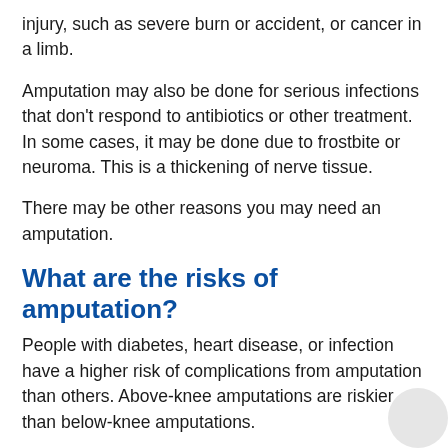injury, such as severe burn or accident, or cancer in a limb.
Amputation may also be done for serious infections that don't respond to antibiotics or other treatment. In some cases, it may be done due to frostbite or neuroma. This is a thickening of nerve tissue.
There may be other reasons you may need an amputation.
What are the risks of amputation?
People with diabetes, heart disease, or infection have a higher risk of complications from amputation than others. Above-knee amputations are riskier than below-knee amputations.
Other complications may include:
Joint deformity